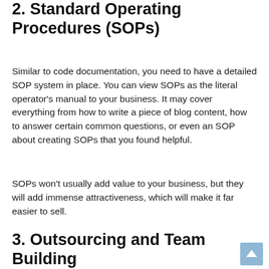2. Standard Operating Procedures (SOPs)
Similar to code documentation, you need to have a detailed SOP system in place. You can view SOPs as the literal operator's manual to your business. It may cover everything from how to write a piece of blog content, how to answer certain common questions, or even an SOP about creating SOPs that you found helpful.
SOPs won't usually add value to your business, but they will add immense attractiveness, which will make it far easier to sell.
3. Outsourcing and Team Building